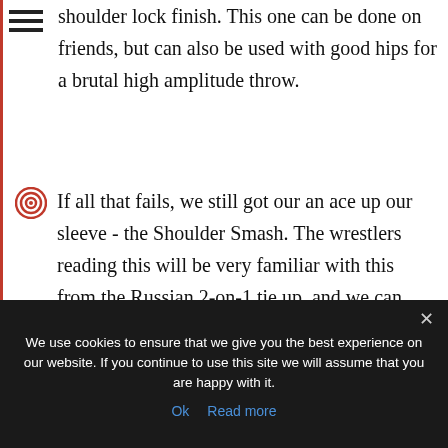shoulder lock finish. This one can be done on friends, but can also be used with good hips for a brutal high amplitude throw.
If all that fails, we still got our an ace up our sleeve - the Shoulder Smash. The wrestlers reading this will be very familiar with this from the Russian 2-on-1 tie up, and we can transform it into an arm lock on the ground as well.
We use cookies to ensure that we give you the best experience on our website. If you continue to use this site we will assume that you are happy with it. Ok  Read more